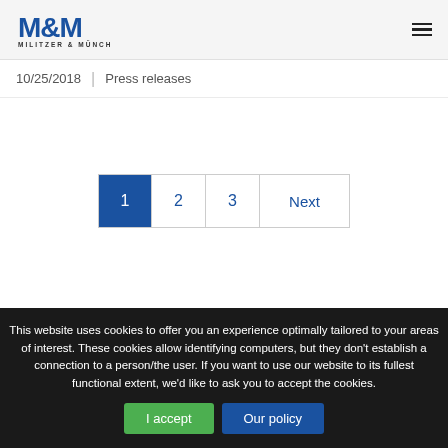M&M Militzer & Münch — navigation header with hamburger menu
10/25/2018 | Press releases
Pagination: 1 2 3 Next
This website uses cookies to offer you an experience optimally tailored to your areas of interest. These cookies allow identifying computers, but they don't establish a connection to a person/the user. If you want to use our website to its fullest functional extent, we'd like to ask you to accept the cookies.